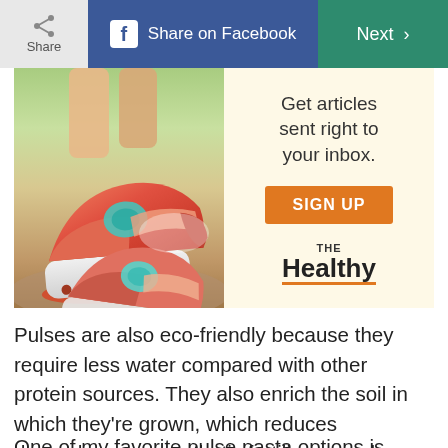Share | Share on Facebook | Next >
[Figure (photo): Advertisement banner showing running shoes close-up on left, and on right: 'Get articles sent right to your inbox.' with orange SIGN UP button and THE Healthy branding on cream background]
Pulses are also eco-friendly because they require less water compared with other protein sources. They also enrich the soil in which they're grown, which reduces dependence on synthetic fertilizers, and produce fewer greenhouse gases, according to the United Nations.
One of my favorite pulse pasta options is